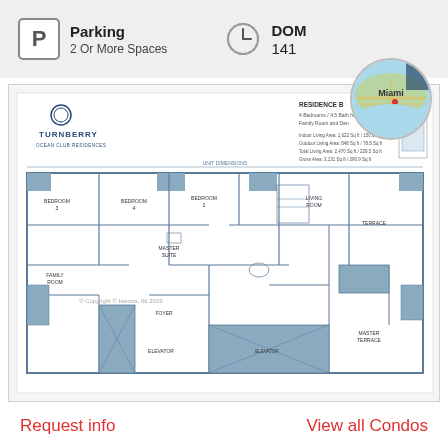Parking
2 Or More Spaces
DOM
141
[Figure (map): Small circular map thumbnail showing Miami area with label 'Miami']
[Figure (engineering-diagram): Turnberry Ocean Club Residences floor plan blueprint showing multiple bedrooms, bathrooms, living areas, and outdoor terrace. Architectural layout with room labels and dimensions.]
Request info
View all Condos